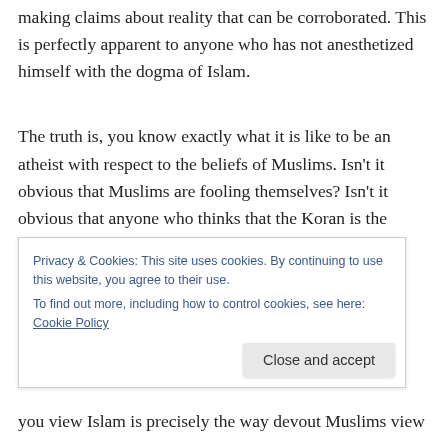making claims about reality that can be corroborated. This is perfectly apparent to anyone who has not anesthetized himself with the dogma of Islam.
The truth is, you know exactly what it is like to be an atheist with respect to the beliefs of Muslims. Isn't it obvious that Muslims are fooling themselves? Isn't it obvious that anyone who thinks that the Koran is the
you view Islam is precisely the way devout Muslims view
Privacy & Cookies: This site uses cookies. By continuing to use this website, you agree to their use.
To find out more, including how to control cookies, see here: Cookie Policy